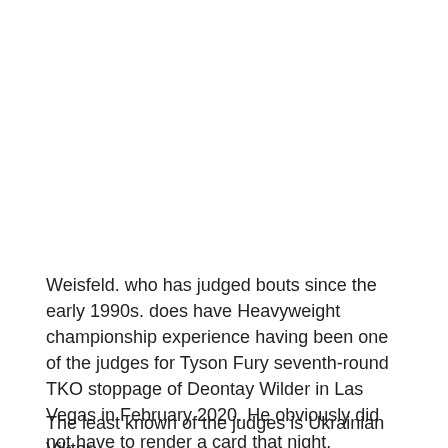Weisfeld. who has judged bouts since the early 1990s. does have Heavyweight championship experience having been one of the judges for Tyson Fury seventh-round TKO stoppage of Deontay Wilder in Las Vegas in February 2020. He obviously did not have to render a card that night.
The least known of the judges is Ukrainian Viktor